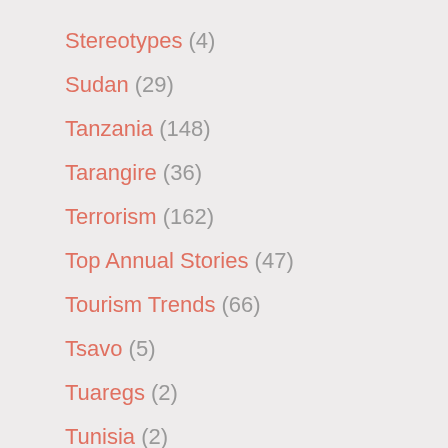Stereotypes (4)
Sudan (29)
Tanzania (148)
Tarangire (36)
Terrorism (162)
Top Annual Stories (47)
Tourism Trends (66)
Tsavo (5)
Tuaregs (2)
Tunisia (2)
Twevolution (26)